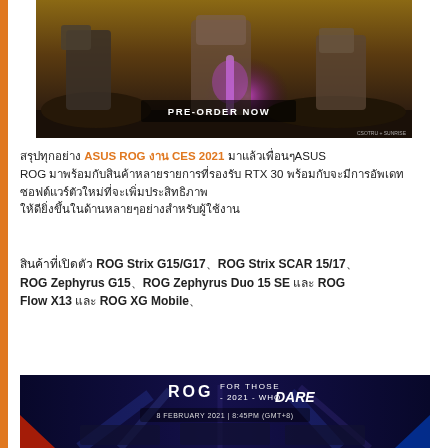[Figure (photo): Gaming promotional image showing mech/robot figures with purple energy effects and 'PRE-ORDER NOW' text overlay, credited to CSOTRU + SUNRISE]
สรุปทุกอย่าง ASUS ROG งาน CES 2021 มาแล้วเพื่อนๆASSUS ROG มาพร้อมกับสินค้าหลายรายการที่รองรับ RTX 30 พร้อมกับจะมีการอัพเดทซอฟต์แวร์ตัวใหม่ที่จะเพิ่มประสิทธิภาพให้ดียิ่งขึ้น
สินค้าที่เปิดตัว ROG Strix G15/G17、ROG Strix SCAR 15/17、ROG Zephyrus G15、ROG Zephyrus Duo 15 SE และ ROG Flow X13 และ ROG XG Mobile、
[Figure (photo): ROG For Those Who Dare 2021 event banner showing 6 February 2021, 8:45PM GMT+8, with colorful lighting effects and product displays]